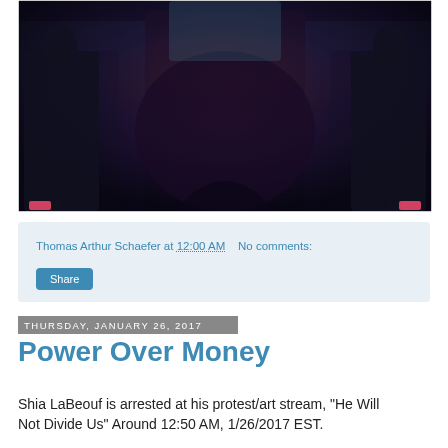[Figure (photo): A dark, symmetrically mirrored/kaleidoscope-effect photo showing figures in dark clothing, teal/blue tones, against a dark background. Pink shoes visible at lower sides.]
Thomas Arthur Schaefer at 12:00 AM    No comments:
Share
Thursday, January 26, 2017
Power Over Money
Shia LaBeouf is arrested at his protest/art stream, "He Will Not Divide Us" Around 12:50 AM, 1/26/2017 EST.